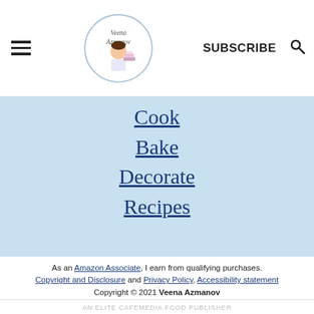SUBSCRIBE | [hamburger menu] | [logo] | [search icon]
Cook
Bake
Decorate
Recipes
As an Amazon Associate, I earn from qualifying purchases. Copyright and Disclosure and Privacy Policy, Accessibility statement
Copyright © 2021 Veena Azmanov
AN ELITE CAFEMEDIA FOOD PUBLISHER